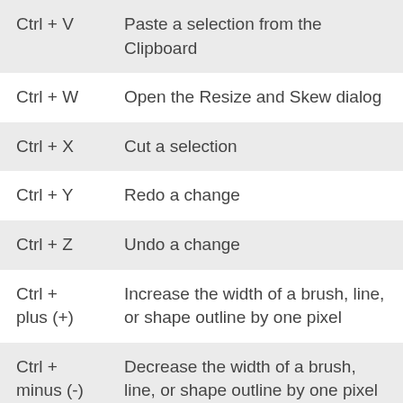Ctrl + V	Paste a selection from the Clipboard
Ctrl + W	Open the Resize and Skew dialog
Ctrl + X	Cut a selection
Ctrl + Y	Redo a change
Ctrl + Z	Undo a change
Ctrl + plus (+)	Increase the width of a brush, line, or shape outline by one pixel
Ctrl + minus (-)	Decrease the width of a brush, line, or shape outline by one pixel
Ctrl +	Zoom in